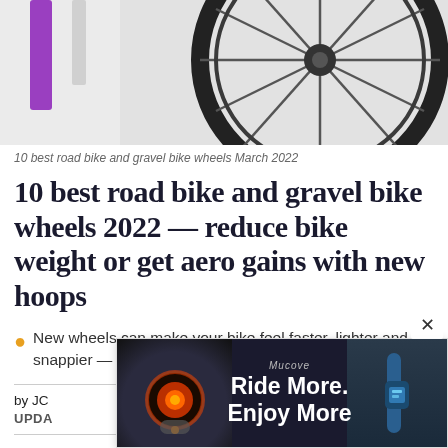[Figure (photo): Partial view of a road bike wheel with black spokes and dark rim against a light grey background, with a purple vertical bar on the left edge.]
10 best road bike and gravel bike wheels March 2022
10 best road bike and gravel bike wheels 2022 — reduce bike weight or get aero gains with new hoops
New wheels can make your bike feel faster, lighter and snappier — here's how to choose
by JC
UPDA
[Figure (screenshot): Advertisement overlay showing cycling light product with text 'Ride More. Enjoy More' on dark background.]